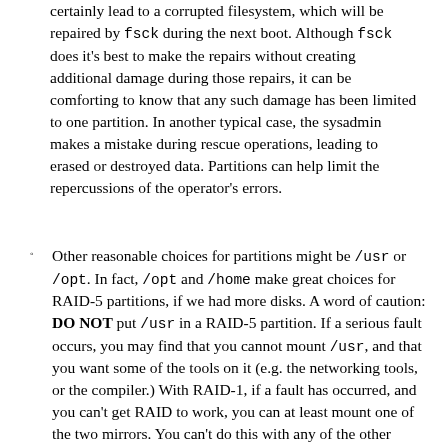certainly lead to a corrupted filesystem, which will be repaired by fsck during the next boot. Although fsck does it's best to make the repairs without creating additional damage during those repairs, it can be comforting to know that any such damage has been limited to one partition. In another typical case, the sysadmin makes a mistake during rescue operations, leading to erased or destroyed data. Partitions can help limit the repercussions of the operator's errors.
Other reasonable choices for partitions might be /usr or /opt. In fact, /opt and /home make great choices for RAID-5 partitions, if we had more disks. A word of caution: DO NOT put /usr in a RAID-5 partition. If a serious fault occurs, you may find that you cannot mount /usr, and that you want some of the tools on it (e.g. the networking tools, or the compiler.) With RAID-1, if a fault has occurred, and you can't get RAID to work, you can at least mount one of the two mirrors. You can't do this with any of the other RAID